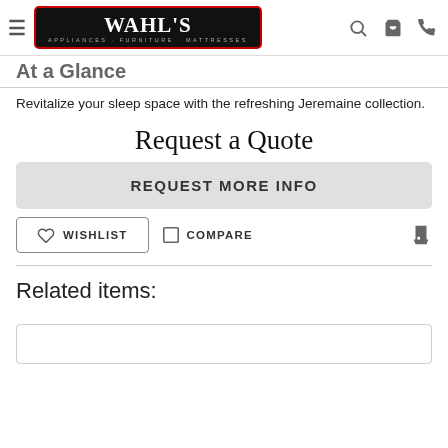Wahl's Appliances · Furniture · Mattresses — navigation bar with logo, search, cart, and phone icons
At a Glance
Revitalize your sleep space with the refreshing Jeremaine collection.
Request a Quote
REQUEST MORE INFO
WISHLIST   COMPARE
Related items: